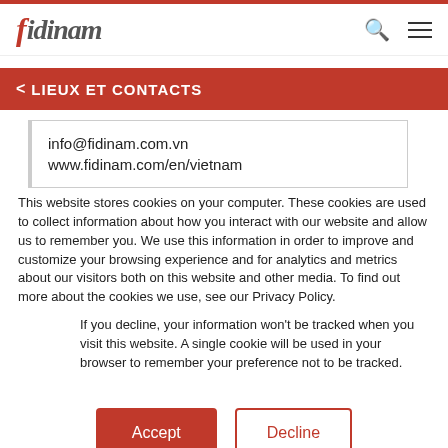fidinam
< LIEUX ET CONTACTS
info@fidinam.com.vn
www.fidinam.com/en/vietnam
This website stores cookies on your computer. These cookies are used to collect information about how you interact with our website and allow us to remember you. We use this information in order to improve and customize your browsing experience and for analytics and metrics about our visitors both on this website and other media. To find out more about the cookies we use, see our Privacy Policy.
If you decline, your information won't be tracked when you visit this website. A single cookie will be used in your browser to remember your preference not to be tracked.
Accept   Decline